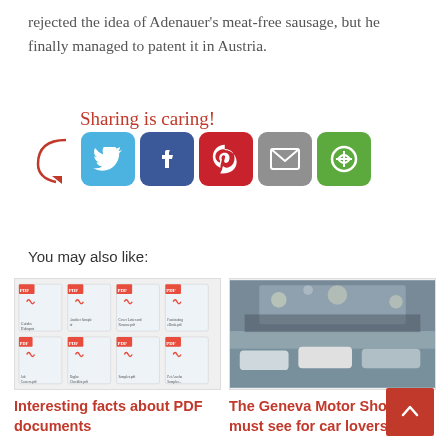rejected the idea of Adenauer's meat-free sausage, but he finally managed to patent it in Austria.
[Figure (infographic): Sharing is caring! social share buttons for Twitter, Facebook, Pinterest, Email, and a share icon, with a red arrow pointing to the icons and cursive red text 'Sharing is caring!']
You may also like:
[Figure (screenshot): Thumbnail image showing multiple PDF document icons in a grid layout]
Interesting facts about PDF documents
[Figure (photo): Photo of a crowded car show floor with many cars and people, likely the Geneva Motor Show]
The Geneva Motor Show - a must see for car lovers